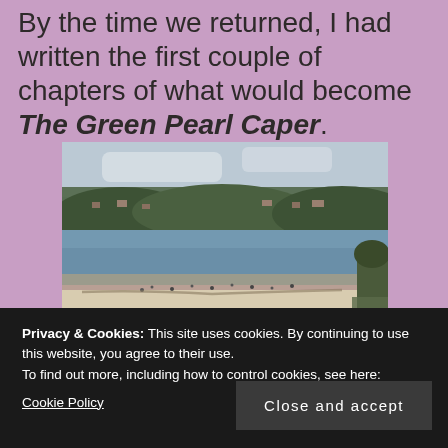By the time we returned, I had written the first couple of chapters of what would become The Green Pearl Caper.
[Figure (photo): A beach scene with white sand in the foreground, people scattered on the beach, a calm bay with blue water, and a treeline with houses along the hillside in the background under a partly cloudy sky.]
Privacy & Cookies: This site uses cookies. By continuing to use this website, you agree to their use.
To find out more, including how to control cookies, see here: Cookie Policy